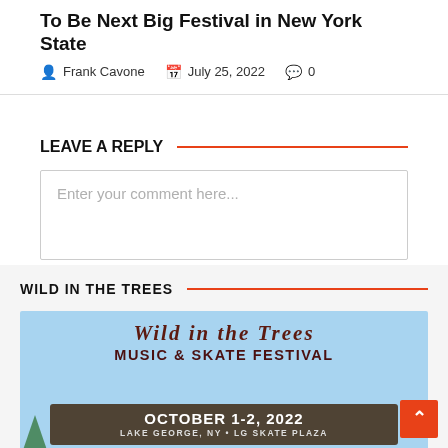To Be Next Big Festival in New York State
Frank Cavone   July 25, 2022   0
LEAVE A REPLY
Enter your comment here...
WILD IN THE TREES
[Figure (illustration): Wild in the Trees Music & Skate Festival poster on a light blue background with decorative lettering, showing 'WILD IN THE TREES MUSIC & SKATE FESTIVAL' and 'OCTOBER 1-2, 2022 LAKE GEORGE, NY • LG SKATE PLAZA']